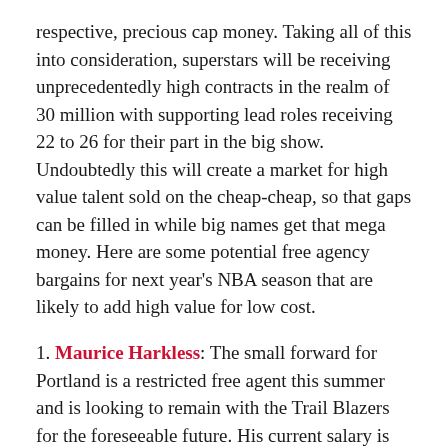respective, precious cap money. Taking all of this into consideration, superstars will be receiving unprecedentedly high contracts in the realm of 30 million with supporting lead roles receiving 22 to 26 for their part in the big show. Undoubtedly this will create a market for high value talent sold on the cheap-cheap, so that gaps can be filled in while big names get that mega money. Here are some potential free agency bargains for next year's NBA season that are likely to add high value for low cost.
1. Maurice Harkless: The small forward for Portland is a restricted free agent this summer and is looking to remain with the Trail Blazers for the foreseeable future. His current salary is $2,894,058/year. Averaging about six points and four rebounds in the regular season, he will most likely re-sign for a similar price with a slight increase, making him a high value player at low cost, especially for Portland. And regardless of his regular season stat line, he was a bright